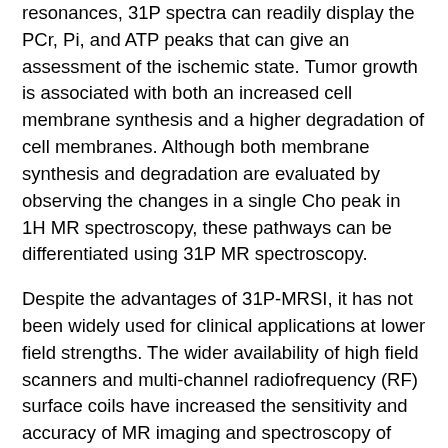resonances, 31P spectra can readily display the PCr, Pi, and ATP peaks that can give an assessment of the ischemic state. Tumor growth is associated with both an increased cell membrane synthesis and a higher degradation of cell membranes. Although both membrane synthesis and degradation are evaluated by observing the changes in a single Cho peak in 1H MR spectroscopy, these pathways can be differentiated using 31P MR spectroscopy.
Despite the advantages of 31P-MRSI, it has not been widely used for clinical applications at lower field strengths. The wider availability of high field scanners and multi-channel radiofrequency (RF) surface coils have increased the sensitivity and accuracy of MR imaging and spectroscopy of brain tumors through higher signal-to-noise ratio (SNR) and improved spectral resolution. Increased spectral dispersion at high field results in less overlap between different peaks and simplifies the appearance of the spectrum. Phosphorus MR spectroscopic imaging highly benefits from high field strength with a resulting increase in SNR, better definition of Pi peak, better separation of PC, PE, GPC and GPE peaks, and better